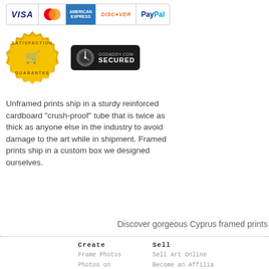[Figure (logo): Payment method logos: VISA, Mastercard, American Express, Discover, PayPal]
[Figure (logo): Satisfaction Guarantee badge (gold seal) and GoDaddy.com Secured badge]
Unframed prints ship in a sturdy reinforced cardboard "crush-proof" tube that is twice as thick as anyone else in the industry to avoid damage to the art while in shipment. Framed prints ship in a custom box we designed ourselves.
Discover gorgeous Cyprus framed prints
Create
Frame Photos
Photos on Canvas
Sell
Sell Art Online
Become an Affilia
Get a Trade Acco